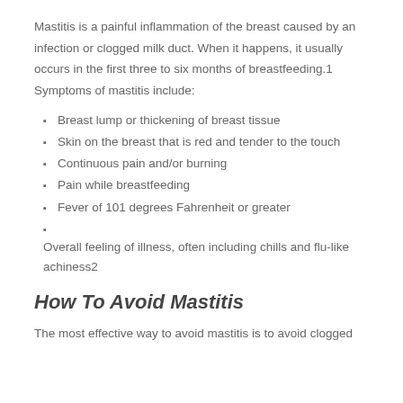Mastitis is a painful inflammation of the breast caused by an infection or clogged milk duct. When it happens, it usually occurs in the first three to six months of breastfeeding.1 Symptoms of mastitis include:
Breast lump or thickening of breast tissue
Skin on the breast that is red and tender to the touch
Continuous pain and/or burning
Pain while breastfeeding
Fever of 101 degrees Fahrenheit or greater
Overall feeling of illness, often including chills and flu-like achiness2
How To Avoid Mastitis
The most effective way to avoid mastitis is to avoid clogged